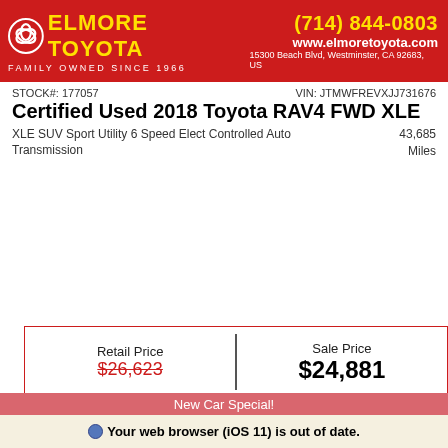[Figure (logo): Elmore Toyota dealership header with red background, Toyota logo, yellow ELMORE TOYOTA text, phone number (714) 844-0803, website www.elmoretoyota.com, address 15300 Beach Blvd, Westminster, CA 92683, US]
STOCK#: 177057    VIN: JTMWFREVXJJ731676
Certified Used 2018 Toyota RAV4 FWD XLE
XLE SUV Sport Utility 6 Speed Elect Controlled Auto Transmission    43,685 Miles
| Retail Price | Sale Price |
| --- | --- |
| $26,623 | $24,881 |
*First Name  *Last Name  *Email  Phone  Get it
New Car Special!
Your web browser (iOS 11) is out of date. Update your browser for more security, speed and the best experience on this site.